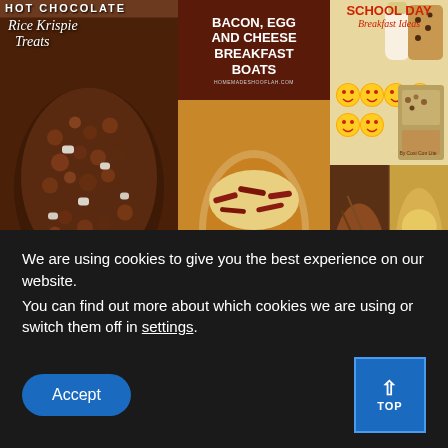[Figure (photo): Food blog collage showing three panels: left panel with Hot Chocolate Rice Krispie Treats, middle panel with Bacon Egg and Cheese Breakfast Boats, right panel with School Day Breakfast Ideas. Bottom has small thumbnail images of additional recipes.]
We are using cookies to give you the best experience on our website.
You can find out more about which cookies we are using or switch them off in settings.
Accept
TOP